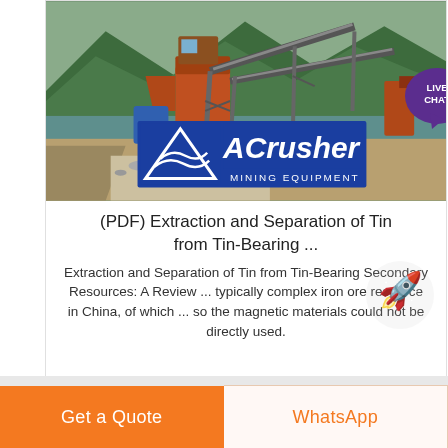[Figure (photo): Mining/crushing equipment with conveyor belts at a riverside site with mountains in the background. ACrusher Mining Equipment logo overlaid at bottom center of photo.]
(PDF) Extraction and Separation of Tin from Tin-Bearing ...
Extraction and Separation of Tin from Tin-Bearing Secondary Resources: A Review ... typically complex iron ore resource in China, of which ... so the magnetic materials could not be directly used.